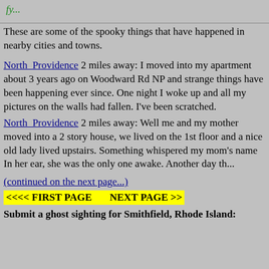(green text partial heading at top)
These are some of the spooky things that have happened in nearby cities and towns.
North Providence 2 miles away: I moved into my apartment about 3 years ago on Woodward Rd NP and strange things have been happening ever since. One night I woke up and all my pictures on the walls had fallen. I've been scratched.
North Providence 2 miles away: Well me and my mother moved into a 2 story house, we lived on the 1st floor and a nice old lady lived upstairs. Something whispered my mom's name In her ear, she was the only one awake. Another day th...
(continued on the next page...)
<<<< FIRST PAGE       NEXT PAGE >>
Submit a ghost sighting for Smithfield, Rhode Island: